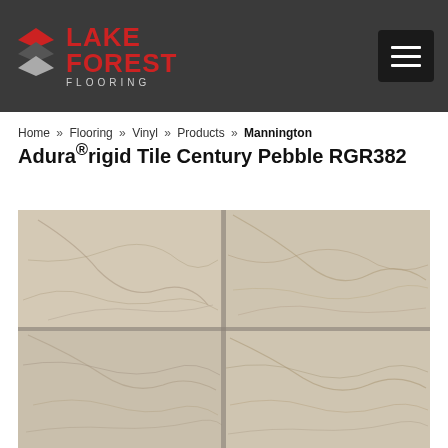Lake Forest Flooring
Home » Flooring » Vinyl » Products » Mannington Adura®rigid Tile Century Pebble RGR382
Mannington Adura®rigid Tile Century Pebble RGR382
[Figure (photo): Product photo of Mannington Adura rigid tile flooring in Century Pebble pattern RGR382, showing a 2x2 grid of tiles with a light beige/tan marble-like texture with subtle brown veining]